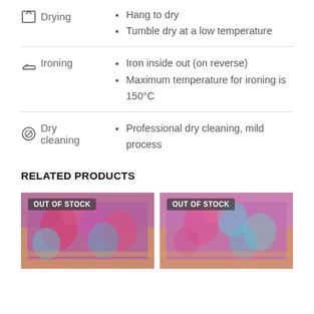Hang to dry
Tumble dry at a low temperature
Iron inside out (on reverse)
Maximum temperature for ironing is 150°C
Professional dry cleaning, mild process
RELATED PRODUCTS
[Figure (photo): OUT OF STOCK product photo showing colorful floral fabric on a table]
[Figure (photo): OUT OF STOCK product photo showing colorful floral fabric on a table, similar to first]